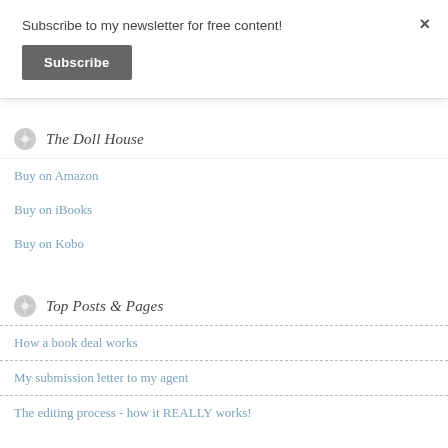Subscribe to my newsletter for free content!
Subscribe
×
The Doll House
Buy on Amazon
Buy on iBooks
Buy on Kobo
Top Posts & Pages
How a book deal works
My submission letter to my agent
The editing process - how it REALLY works!